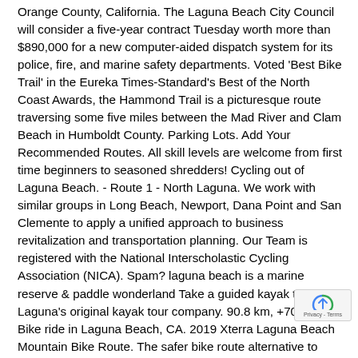Orange County, California. The Laguna Beach City Council will consider a five-year contract Tuesday worth more than $890,000 for a new computer-aided dispatch system for its police, fire, and marine safety departments. Voted 'Best Bike Trail' in the Eureka Times-Standard's Best of the North Coast Awards, the Hammond Trail is a picturesque route traversing some five miles between the Mad River and Clam Beach in Humboldt County. Parking Lots. Add Your Recommended Routes. All skill levels are welcome from first time beginners to seasoned shredders! Cycling out of Laguna Beach. - Route 1 - North Laguna. We work with similar groups in Long Beach, Newport, Dana Point and San Clemente to apply a unified approach to business revitalization and transportation planning. Our Team is registered with the National Interscholastic Cycling Association (NICA). Spam? laguna beach is a marine reserve & paddle wonderland Take a guided kayak tour with Laguna's original kayak tour company. 90.8 km, +706 m. Bike ride in Laguna Beach, CA. 2019 Xterra Laguna Beach Mountain Bike Route. The safer bike route alternative to Coast Highway already exists in North Laguna starting at Ledroit Street on the inland side and Cliff Drive along the ocean. Laguna Beach mountain bike trail map. From there, you can return to the Back Bay on the streets, which mostly have bike lanes. 2019 Xterra Laguna Beach Mountain Bike Route. Check here for updates to venue and Seal Beach… The Interscholastic Mountain Bike Team w the money on professional coaching and race day hospitality